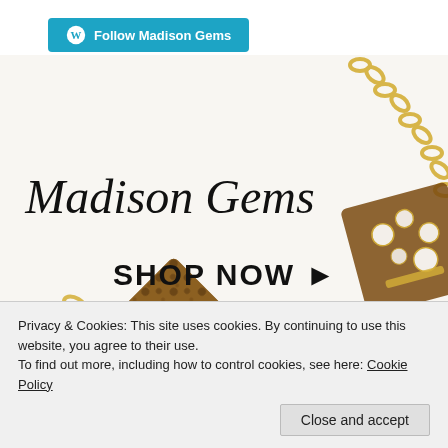[Figure (screenshot): WordPress Follow Madison Gems button with WordPress icon on teal/cyan background]
[Figure (photo): Close-up photo of gold chain jewelry with tortoiseshell and crystal/diamond embellished pendant pieces. Overlaid with 'Madison Gems' in cursive script and 'SHOP NOW ▶' in bold sans-serif text.]
Privacy & Cookies: This site uses cookies. By continuing to use this website, you agree to their use.
To find out more, including how to control cookies, see here: Cookie Policy
Close and accept